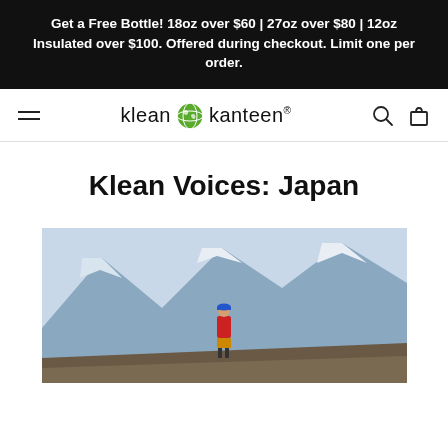Get a Free Bottle! 18oz over $60 | 27oz over $80 | 12oz Insulated over $100. Offered during checkout. Limit one per order.
[Figure (logo): Klean Kanteen logo with globe icon between 'klean' and 'kanteen®' wordmark]
Klean Voices: Japan
[Figure (photo): Person in red jacket and blue cap standing on rocky terrain with snow-capped mountains in background]